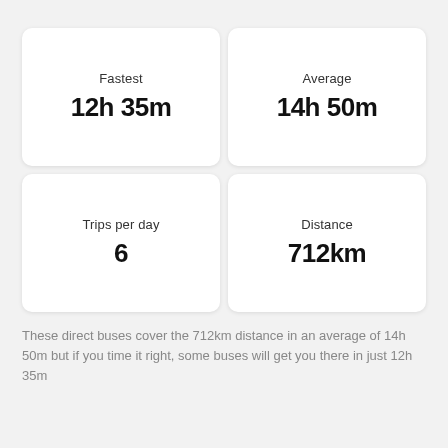[Figure (infographic): Four stat cards in a 2x2 grid: Fastest 12h 35m, Average 14h 50m, Trips per day 6, Distance 712km]
These direct buses cover the 712km distance in an average of 14h 50m but if you time it right, some buses will get you there in just 12h 35m